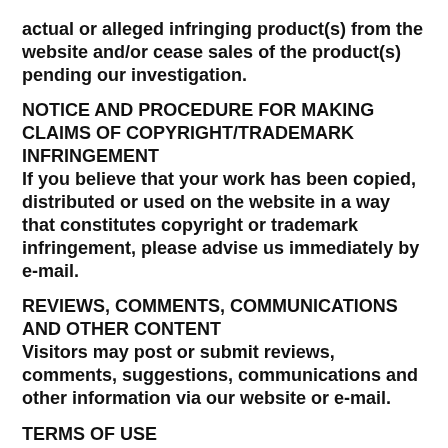actual or alleged infringing product(s) from the website and/or cease sales of the product(s) pending our investigation.
NOTICE AND PROCEDURE FOR MAKING CLAIMS OF COPYRIGHT/TRADEMARK INFRINGEMENT
If you believe that your work has been copied, distributed or used on the website in a way that constitutes copyright or trademark infringement, please advise us immediately by e-mail.
REVIEWS, COMMENTS, COMMUNICATIONS AND OTHER CONTENT
Visitors may post or submit reviews, comments, suggestions, communications and other information via our website or e-mail.
TERMS OF USE
PRIVACY POLICY
We value your business and we know your privacy is important to you. Accordingly, we have implemented this Privacy Policy to inform you of